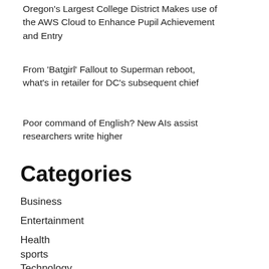Oregon’s Largest College District Makes use of the AWS Cloud to Enhance Pupil Achievement and Entry
From ‘Batgirl’ Fallout to Superman reboot, what’s in retailer for DC’s subsequent chief
Poor command of English? New AIs assist researchers write higher
Categories
Business
Entertainment
Health
sports
Technology